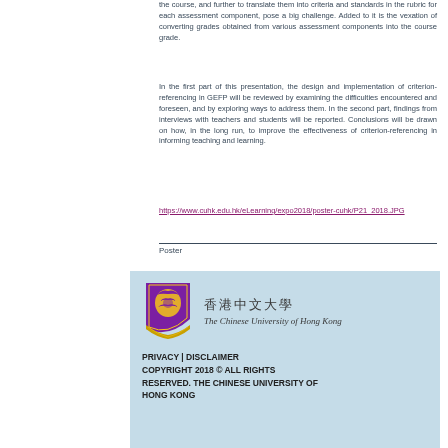the course, and further to translate them into criteria and standards in the rubric for each assessment component, pose a big challenge. Added to it is the vexation of converting grades obtained from various assessment components into the course grade.
In the first part of this presentation, the design and implementation of criterion-referencing in GEFP will be reviewed by examining the difficulties encountered and foreseen, and by exploring ways to address them. In the second part, findings from interviews with teachers and students will be reported. Conclusions will be drawn on how, in the long run, to improve the effectiveness of criterion-referencing in informing teaching and learning.
https://www.cuhk.edu.hk/eLearning/expo2018/poster-cuhk/P21_2018.JPG
Poster
[Figure (logo): The Chinese University of Hong Kong logo with shield and Chinese/English name]
PRIVACY | DISCLAIMER COPYRIGHT 2018 © ALL RIGHTS RESERVED. THE CHINESE UNIVERSITY OF HONG KONG